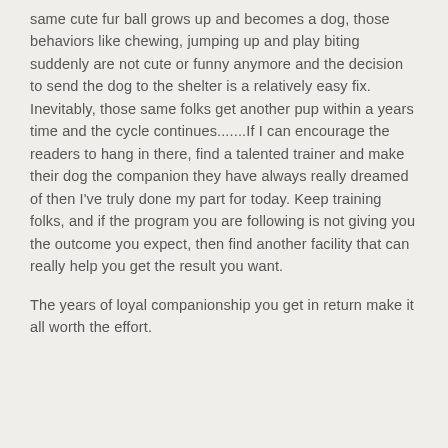same cute fur ball grows up and becomes a dog, those behaviors like chewing, jumping up and play biting suddenly are not cute or funny anymore and the decision to send the dog to the shelter is a relatively easy fix. Inevitably, those same folks get another pup within a years time and the cycle continues.......If I can encourage the readers to hang in there, find a talented trainer and make their dog the companion they have always really dreamed of then I've truly done my part for today. Keep training folks, and if the program you are following is not giving you the outcome you expect, then find another facility that can really help you get the result you want.
The years of loyal companionship you get in return make it all worth the effort.